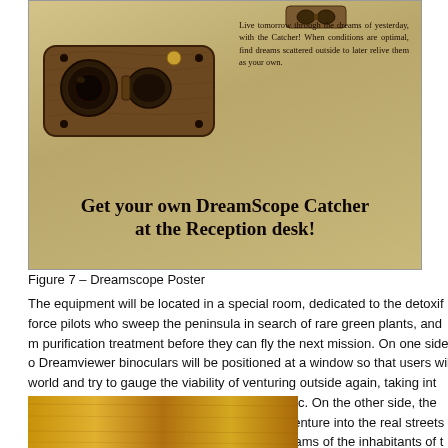[Figure (illustration): Vintage-style advertisement poster for the DreamScope Catcher. Shows a steampunk-like device (binoculars/dream catcher gadget) on a parchment-colored background with text and bold headline.]
Figure 7 – Dreamscope Poster
The equipment will be located in a special room, dedicated to the detoxi force pilots who sweep the peninsula in search of rare green plants, and purification treatment before they can fly the next mission. On one side Dreamviewer binoculars will be positioned at a window so that users wil world and try to gauge the viability of venturing outside again, taking int toxicity, availability of plants, other life forms, etc. On the other side, the borrow mobile devices (Dreamcatchers) and venture into the real streets installation is hosted, in order to 'catch' the dreams of the inhabitants of with memories of the world before it was transformed into the dry and to become. The Dreamscope tools will guide people in the discovery of this
[Figure (photo): Bottom partial image showing what appears to be a wooden surface or furniture piece with golden/amber tones.]